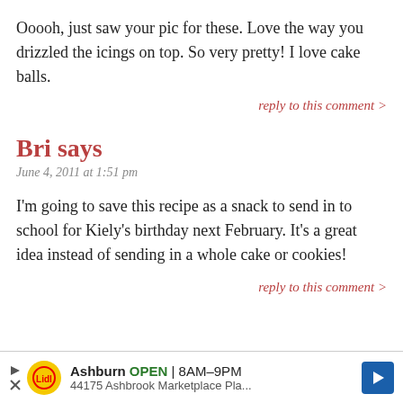Ooooh, just saw your pic for these. Love the way you drizzled the icings on top. So very pretty! I love cake balls.
reply to this comment >
Bri says
June 4, 2011 at 1:51 pm
I'm going to save this recipe as a snack to send in to school for Kiely's birthday next February. It's a great idea instead of sending in a whole cake or cookies!
reply to this comment >
[Figure (other): Advertisement bar: Lidl store in Ashburn, OPEN 8AM-9PM, 44175 Ashbrook Marketplace Pla...]